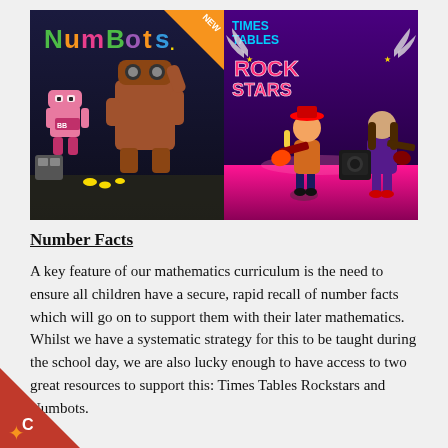[Figure (illustration): Two side-by-side game logos: left side shows Numbots logo with colorful robot characters on dark background with NEW badge in orange corner; right side shows Times Tables Rock Stars logo with cartoon rock-band characters on purple stage background.]
Number Facts
A key feature of our mathematics curriculum is the need to ensure all children have a secure, rapid recall of number facts which will go on to support them with their later mathematics. Whilst we have a systematic strategy for this to be taught during the school day, we are also lucky enough to have access to two great resources to support this: Times Tables Rockstars and Numbots.